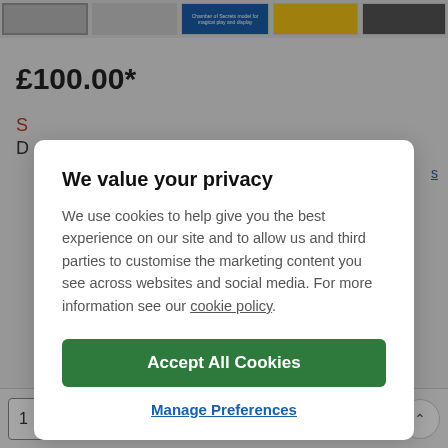[Figure (screenshot): Background of a retail product page showing price £100.00* and bottom Add to trolley button with quantity selector]
We value your privacy
We use cookies to help give you the best experience on our site and to allow us and third parties to customise the marketing content you see across websites and social media. For more information see our cookie policy.
Accept All Cookies
Manage Preferences